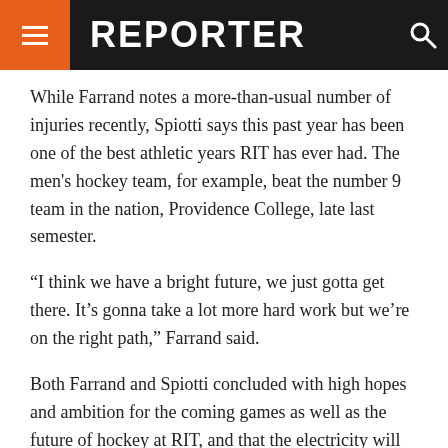REPORTER
While Farrand notes a more-than-usual number of injuries recently, Spiotti says this past year has been one of the best athletic years RIT has ever had. The men's hockey team, for example, beat the number 9 team in the nation, Providence College, late last semester.
“I think we have a bright future, we just gotta get there. It’s gonna take a lot more hard work but we’re on the right path,” Farrand said.
Both Farrand and Spiotti concluded with high hopes and ambition for the coming games as well as the future of hockey at RIT, and that the electricity will continue to surge.